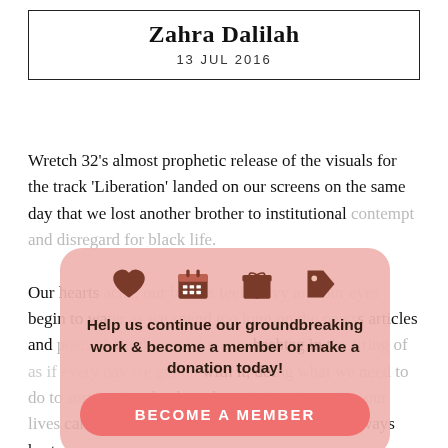Zahra Dalilah
13 JUL 2016
Wretch 32's almost prophetic release of the visuals for the track 'Liberation' landed on our screens on the same day that we lost another brother to institutional contempt and disregard for black life.
Our hearts ache, our bodies feel heavy and our eyes begin to water as we spend too long on the news articles and posts about the social media hashtag in the firing of  as if every day we get on with it, doing what we need to do to survive but that brutal reminder hits us that our lives can be disposed of at any time, and it will always hurt.
[Figure (infographic): Popup overlay with pink background, four icons (heart, calendar, gift, tag), bold text 'Help us continue our groundbreaking work & become a member or make a donation today!', and a pink 'BECOME A MEMBER' button.]